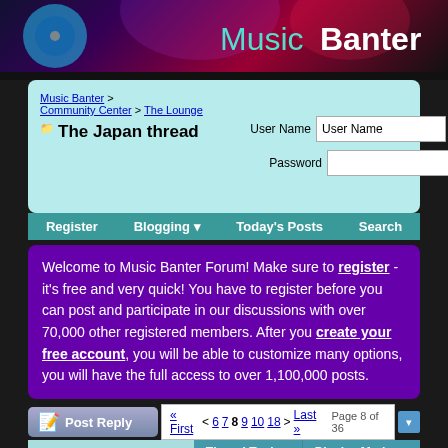[Figure (screenshot): MusicBanter website header banner with logo, CD graphic, purple/red/dark gradient background]
Music Banter > Community Center > The Lounge
The Japan thread
User Name | Password | Remember Me? | Log in
Register | Blogging | Today's Posts | Search
Welcome to Music Banter Forum! Make sure to register - it's free and very quick! You have to register before you can post and participate in our discussions with over 70,000 other registered members. After you create your free account, you will be able to customize many options, you will have the full access to over 1,100,000 posts.
Post Reply | Page 8 of 36 | « First < 6 7 8 9 10 18 > Last »
Thread Tools | Display Modes
09-11-2017, 12:12 PM   #71 (permalink)
elphenor
Willowy Elven Boy
Quote: